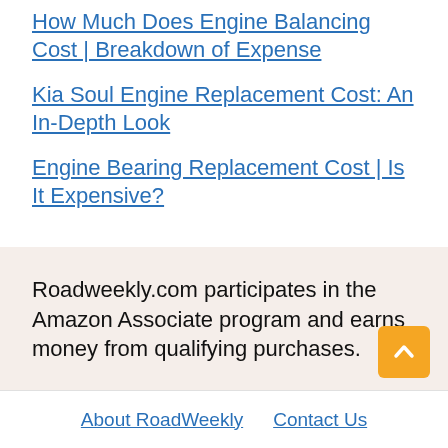How Much Does Engine Balancing Cost | Breakdown of Expense
Kia Soul Engine Replacement Cost: An In-Depth Look
Engine Bearing Replacement Cost | Is It Expensive?
Roadweekly.com participates in the Amazon Associate program and earns money from qualifying purchases.
About RoadWeekly   Contact Us